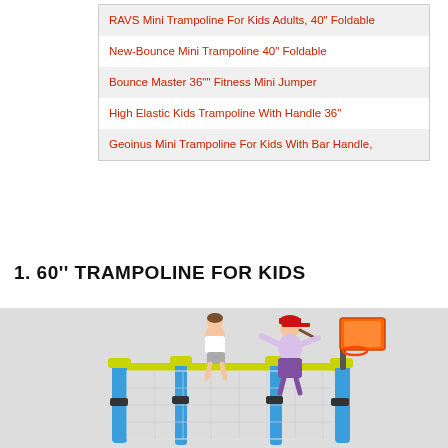RAVS Mini Trampoline For Kids Adults, 40" Foldable
New-Bounce Mini Trampoline 40" Foldable
Bounce Master 36"" Fitness Mini Jumper
High Elastic Kids Trampoline With Handle 36"
Geoinus Mini Trampoline For Kids With Bar Handle,
1. 60'' TRAMPOLINE FOR KIDS
[Figure (photo): Two children jumping on a colorful 60-inch trampoline with yellow safety net poles and blue vertical supports. One child wearing a red cap appears to be reaching toward a basketball hoop attached to the trampoline frame.]